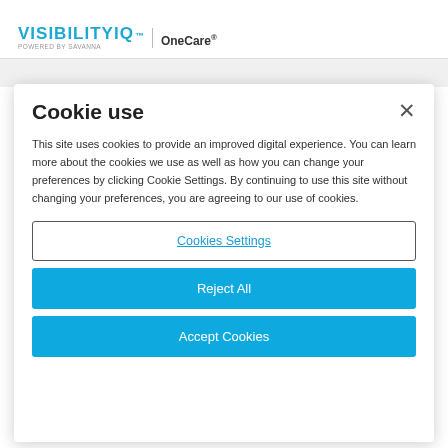VISIBILITYIQ POWERED BY SAVANNA | OneCare®
Cookie use
This site uses cookies to provide an improved digital experience. You can learn more about the cookies we use as well as how you can change your preferences by clicking Cookie Settings. By continuing to use this site without changing your preferences, you are agreeing to our use of cookies.
Cookies Settings
Reject All
Accept Cookies